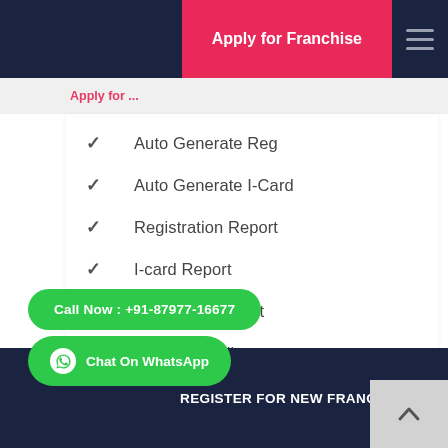Apply for Franchise
Apply for ...
Auto Generate Reg
Auto Generate I-Card
Registration Report
I-card Report
Certificate Report
Payment Online
Help & Support
REGISTER FOR NEW FRANCHISE
Call Now : +91-87977-16677
Chat On WhatsApp